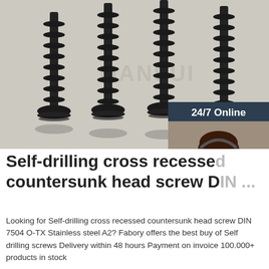[Figure (photo): Photo of multiple black self-drilling screws standing upright on a light grey surface, with a watermark text 'MANSUI' in the background. An overlaid chat widget on the right shows '24/7 Online' header, a female customer service agent with headset, 'Click here for free chat!' text, and a QUOTATION button.]
Self-drilling cross recessed countersunk head screw DIN...
Looking for Self-drilling cross recessed countersunk head screw DIN 7504 O-TX Stainless steel A2? Fabory offers the best buy of Self drilling screws Delivery within 48 hours Payment on invoice 100.000+ products in stock